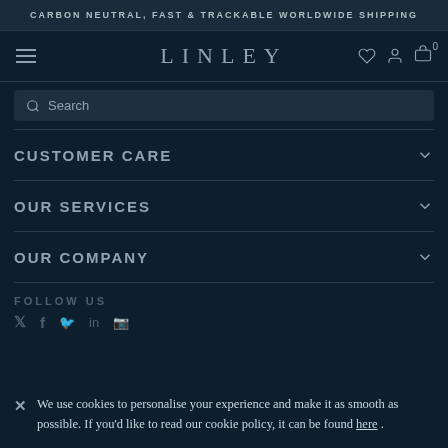CARBON NEUTRAL, FAST & TRACKABLE WORLDWIDE SHIPPING
LINLEY
CUSTOMER CARE
OUR SERVICES
OUR COMPANY
FOLLOW US
We use cookies to personalise your experience and make it as smooth as possible. If you'd like to read our cookie policy, it can be found here .